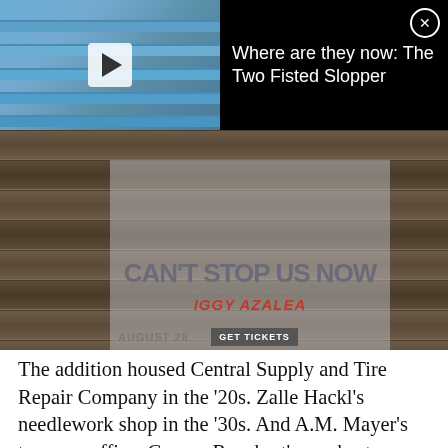[Figure (screenshot): Video thumbnail showing a man in a white tank top and blue baseball cap sitting in bleachers, with a play button overlay. Black bar to the right with white text reading 'Where are they now: The Two Fisted Slopper' and a close button.]
Where are they now: The Two Fisted Slopper
[Figure (photo): Background photo of wooden railroad ties or planks, dark brown tones.]
[Figure (advertisement): Concert advertisement overlay showing two performers (woman with long blonde hair and man), text reading: CAN'T STOP US NOW, with very special guest, IGGY AZALEA, also featuring Globalization DJs, August 28, GET TICKETS, American Family Amphitheater.]
The addition housed Central Supply and Tire Repair Company in the '20s. Zalle Hackl's needlework shop in the '30s. And A.M. Mayer's tax prep office, George Ruechert's candy store and Branovan's Shoes in the 1940s and into the '50s.